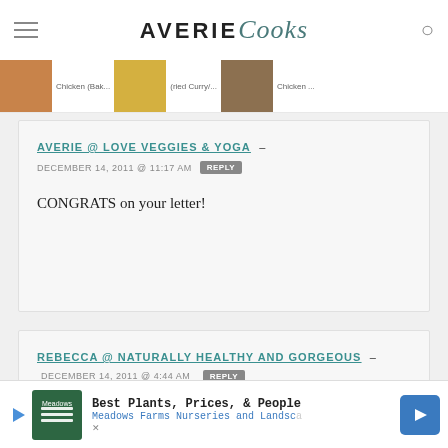AVERIE Cooks
[Figure (screenshot): Navigation strip with food thumbnails and partial text labels: Chicken (Bak..., (ried Curry/..., Chicken...]
AVERIE @ LOVE VEGGIES & YOGA – DECEMBER 14, 2011 @ 11:17 AM REPLY
CONGRATS on your letter!
REBECCA @ NATURALLY HEALTHY AND GORGEOUS – DECEMBER 14, 2011 @ 4:44 AM REPLY
Frozen grapes are a staple in our home! So refreshing!
[Figure (other): Advertisement banner: Best Plants, Prices, & People - Meadows Farms Nurseries and Landsc...]